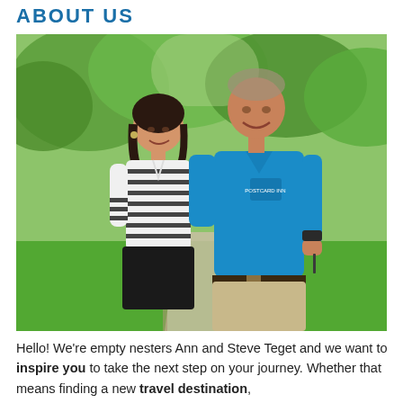ABOUT US
[Figure (photo): A smiling couple, a woman in a striped shirt and a man in a blue polo shirt, standing together outdoors on a garden path surrounded by green trees and grass.]
Hello! We're empty nesters Ann and Steve Teget and we want to inspire you to take the next step on your journey. Whether that means finding a new travel destination,